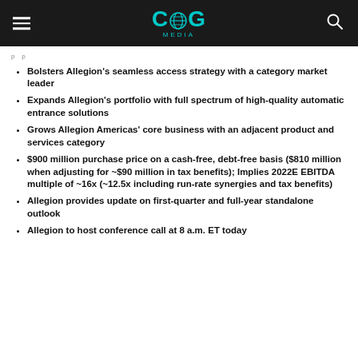CNG MEDIA
Bolsters Allegion's seamless access strategy with a category market leader
Expands Allegion's portfolio with full spectrum of high-quality automatic entrance solutions
Grows Allegion Americas' core business with an adjacent product and services category
$900 million purchase price on a cash-free, debt-free basis ($810 million when adjusting for ~$90 million in tax benefits); Implies 2022E EBITDA multiple of ~16x (~12.5x including run-rate synergies and tax benefits)
Allegion provides update on first-quarter and full-year standalone outlook
Allegion to host conference call at 8 a.m. ET today